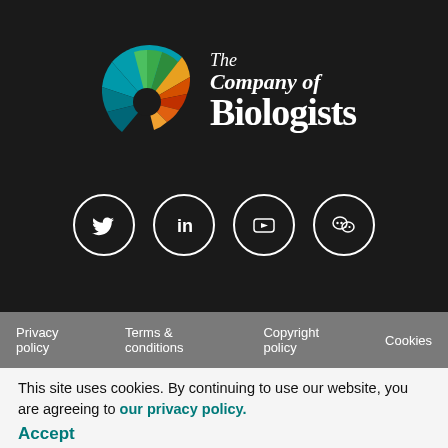[Figure (logo): The Company of Biologists logo: a circular fan/wheel graphic with multicolor segments (teal, green, orange, red, yellow) on left, and white serif text 'The Company of Biologists' on right, on dark background]
[Figure (infographic): Four social media icons in white circle outlines on dark background: Twitter bird, LinkedIn 'in', YouTube play button, WeChat logo]
Privacy policy   Terms & conditions   Copyright policy   Cookies
© 2022 The Company of Biologists. All rights reserved.
This site uses cookies. By continuing to use our website, you are agreeing to our privacy policy.
Accept
Registered Office: Bidder Building, Station Road, Histon, Cambridge CB24 9LF, UK